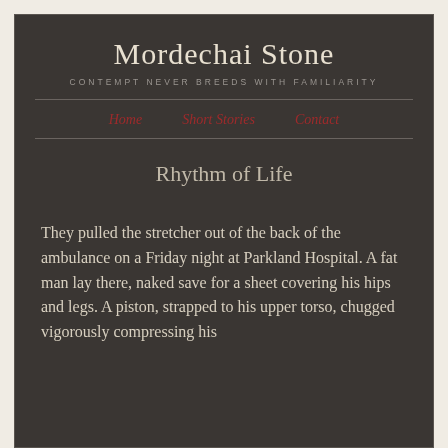Mordechai Stone
CONTEMPT NEVER BREEDS WITH FAMILIARITY
Home   Short Stories   Contact
Rhythm of Life
They pulled the stretcher out of the back of the ambulance on a Friday night at Parkland Hospital. A fat man lay there, naked save for a sheet covering his hips and legs. A piston, strapped to his upper torso, chugged vigorously compressing his